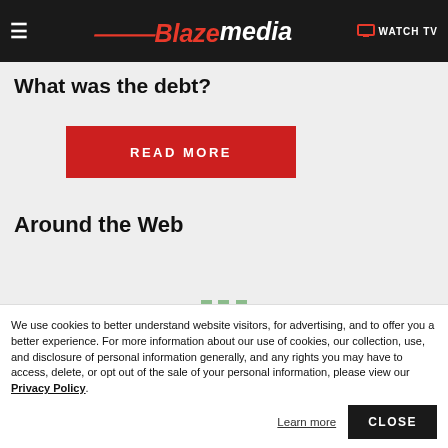Blaze media — WATCH TV
What was the debt?
READ MORE
Around the Web
We use cookies to better understand website visitors, for advertising, and to offer you a better experience. For more information about our use of cookies, our collection, use, and disclosure of personal information generally, and any rights you may have to access, delete, or opt out of the sale of your personal information, please view our Privacy Policy.
Learn more
CLOSE